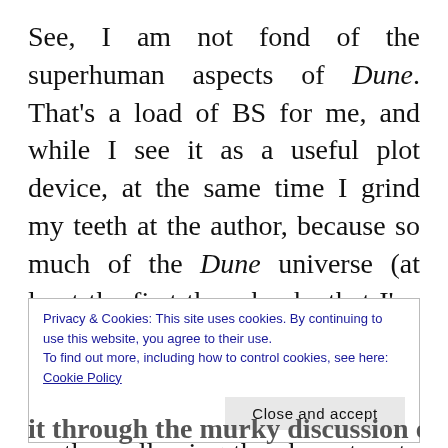See, I am not fond of the superhuman aspects of Dune. That's a load of BS for me, and while I see it as a useful plot device, at the same time I grind my teeth at the author, because so much of the Dune universe (at least the first three books that I've read) is based on this concept. I feel that it Herbert uses it instead of the personified Fate of Greek mythos, allowing the characters to glimpse the tragedy
Privacy & Cookies: This site uses cookies. By continuing to use this website, you agree to their use.
To find out more, including how to control cookies, see here: Cookie Policy
Close and accept
it through the murky discussion on free will